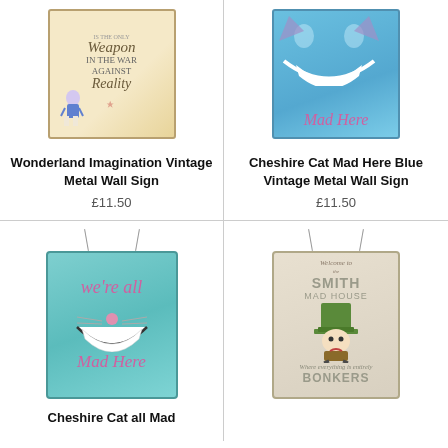[Figure (photo): Vintage metal wall sign with Alice in Wonderland imagery and text about imagination being a weapon against reality]
Wonderland Imagination Vintage Metal Wall Sign
£11.50
[Figure (photo): Blue vintage metal wall sign with Cheshire Cat grin and text Mad Here]
Cheshire Cat Mad Here Blue Vintage Metal Wall Sign
£11.50
[Figure (photo): Teal hanging metal sign with Cheshire Cat grin and text We're All Mad Here]
Cheshire Cat all Mad
[Figure (photo): Beige hanging metal sign with Mad Hatter illustration and text Welcome to the Smith Mad House Where everything is entirely Bonkers]